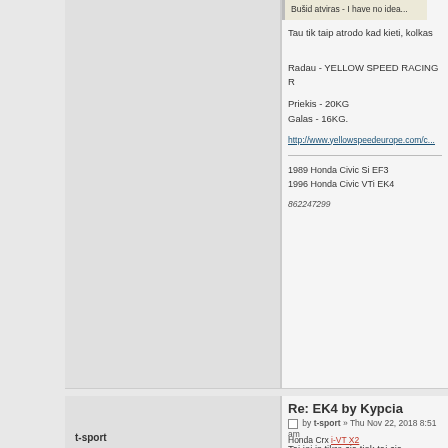Bušid atviras - I have no idea...
Tau tik taip atrodo kad kieti, kolkas
Radau - YELLOW SPEED RACING R
Priekis - 20KG
Galas - 16KG.
http://www.yellowspeedeurope.com/c...
1989 Honda Civic Si EF3
1996 Honda Civic VTi EK4
862247299
Re: EK4 by Kypcia
by t-sport » Thu Nov 22, 2018 8:51 am
Tai jei is tikro cia tiek tai cia kosmosas
t-sport
Honda Crx i-VT X2